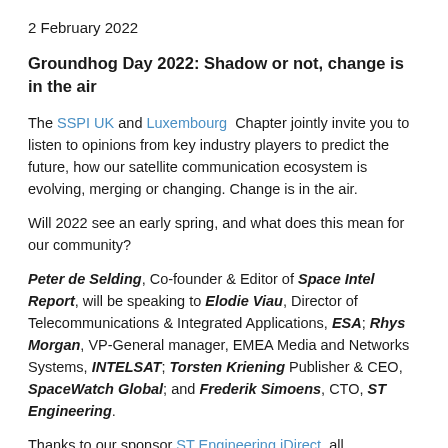2 February 2022
Groundhog Day 2022: Shadow or not, change is in the air
The SSPI UK and Luxembourg Chapter jointly invite you to listen to opinions from key industry players to predict the future, how our satellite communication ecosystem is evolving, merging or changing. Change is in the air.
Will 2022 see an early spring, and what does this mean for our community?
Peter de Selding, Co-founder & Editor of Space Intel Report, will be speaking to Elodie Viau, Director of Telecommunications & Integrated Applications, ESA; Rhys Morgan, VP-General manager, EMEA Media and Networks Systems, INTELSAT; Torsten Kriening Publisher & CEO, SpaceWatch Global; and Frederik Simoens, CTO, ST Engineering.
Thanks to our sponsor ST Engineering iDirect, all